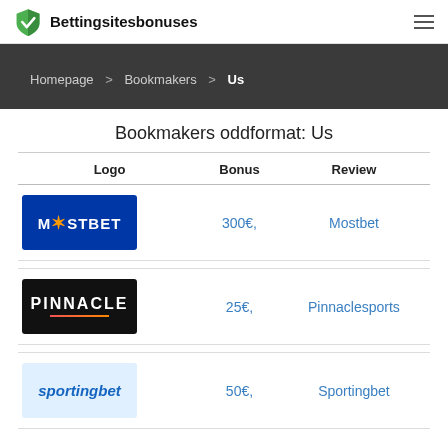Bettingsitesbonuses
Homepage > Bookmakers > Us
Bookmakers oddformat: Us
| Logo | Bonus | Review |
| --- | --- | --- |
| [Mostbet logo] | 300€, | Mostbet |
| [Pinnacle logo] | 25€, | Pinnaclesports |
| [Sportingbet logo] | 50€, | Sportingbet |